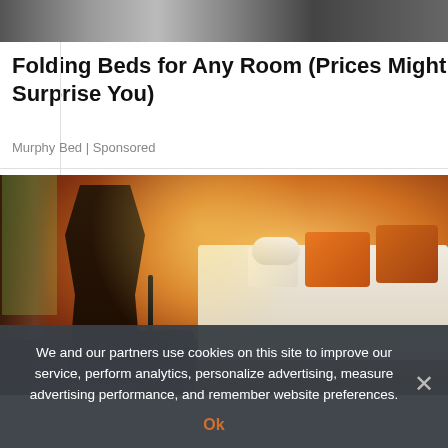[Figure (photo): Top strip of a screenshot showing a laptop/tablet device on a dark surface]
Folding Beds for Any Room (Prices Might Surprise You)
Murphy Bed | Sponsored
[Figure (photo): A person standing with luggage in a warmly lit hotel room with a bed featuring orange pillows and white bedding, sunlight streaming through sheer curtains]
We and our partners use cookies on this site to improve our service, perform analytics, personalize advertising, measure advertising performance, and remember website preferences.
Ok